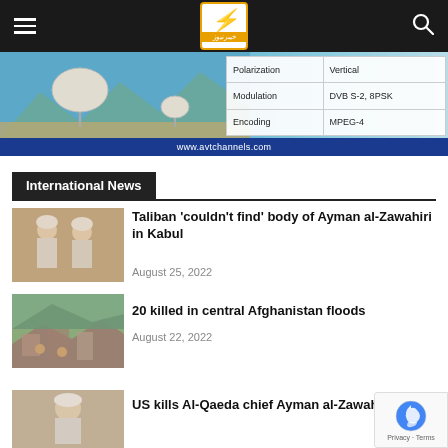Khyber News HD navigation bar with hamburger menu, logo, and search icon
[Figure (photo): Banner advertisement showing satellite dish array with technical specs table (Polarization: Vertical, Modulation: DVB S-2 8PSK, Encoding: MPEG-4) and URL www.avtchannels.com]
International News
[Figure (photo): Taliban figures seated, related to Ayman al-Zawahiri story]
Taliban 'couldn't find' body of Ayman al-Zawahiri in Kabul
August 25, 2022
[Figure (photo): Flood damage in central Afghanistan]
20 killed in central Afghanistan floods
August 22, 2022
[Figure (photo): Photo related to US kills Al-Qaeda chief Ayman al-Zawahiri story]
US kills Al-Qaeda chief Ayman al-Zawahiri in